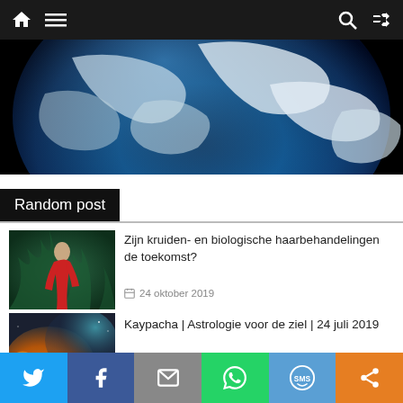Navigation bar with home, menu, search, and shuffle icons
[Figure (photo): Earth from space photo showing blue and white globe against black background]
Random post
[Figure (photo): Woman in red dress surrounded by green ferns/plants]
Zijn kruiden- en biologische haarbehandelingen de toekomst?
24 oktober 2019
[Figure (photo): Nebula or galaxy with orange and teal colors]
Kaypacha | Astrologie voor de ziel | 24 juli 2019
26 juli 2019
Social share buttons: Twitter, Facebook, Email, WhatsApp, SMS, Share